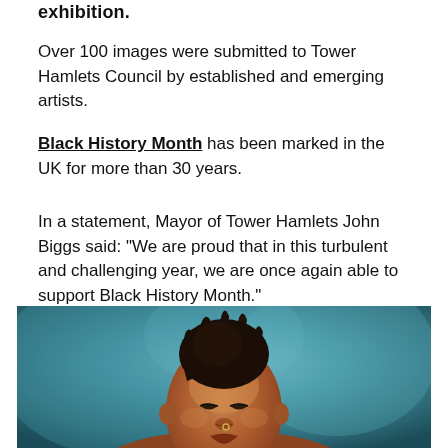exhibition.
Over 100 images were submitted to Tower Hamlets Council by established and emerging artists.
Black History Month has been marked in the UK for more than 30 years.
In a statement, Mayor of Tower Hamlets John Biggs said: "We are proud that in this turbulent and challenging year, we are once again able to support Black History Month."
[Figure (photo): Portrait photo of a young Black woman with dreadlocks pulled up, eyes closed or downcast, pierced nose, against a teal/blue-green background.]